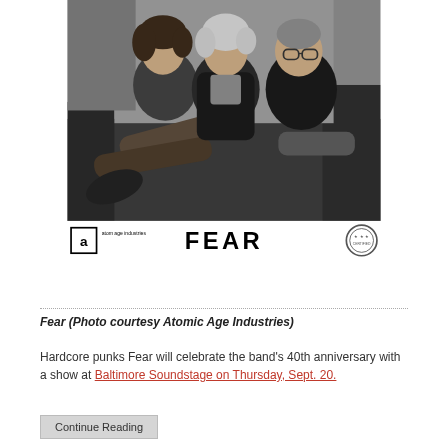[Figure (photo): Black and white photo of three men seated on a couch. The band Fear. Logos visible below: Atom Age Industries logo on left, FEAR text logo in center, circular badge on right.]
Fear (Photo courtesy Atomic Age Industries)
Hardcore punks Fear will celebrate the band’s 40th anniversary with a show at Baltimore Soundstage on Thursday, Sept. 20.